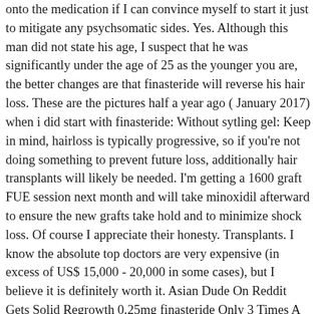onto the medication if I can convince myself to start it just to mitigate any psychsomatic sides. Yes. Although this man did not state his age, I suspect that he was significantly under the age of 25 as the younger you are, the better changes are that finasteride will reverse his hair loss. These are the pictures half a year ago ( January 2017) when i did start with finasteride: Without sytling gel: Keep in mind, hairloss is typically progressive, so if you're not doing something to prevent future loss, additionally hair transplants will likely be needed. I'm getting a 1600 graft FUE session next month and will take minoxidil afterward to ensure the new grafts take hold and to minimize shock loss. Of course I appreciate their honesty. Transplants. I know the absolute top doctors are very expensive (in excess of US$ 15,000 - 20,000 in some cases), but I believe it is definitely worth it. Asian Dude On Reddit Gets Solid Regrowth 0.25mg finasteride Only 3 Times A Week. But I suffer from seasonal hair loss. Fin generally has a largely flat response rate for all doses from .2mg to 5mg with